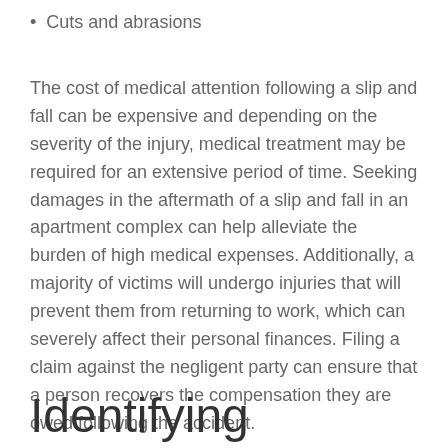Cuts and abrasions
The cost of medical attention following a slip and fall can be expensive and depending on the severity of the injury, medical treatment may be required for an extensive period of time. Seeking damages in the aftermath of a slip and fall in an apartment complex can help alleviate the burden of high medical expenses. Additionally, a majority of victims will undergo injuries that will prevent them from returning to work, which can severely affect their personal finances. Filing a claim against the negligent party can ensure that a person recovers the compensation they are owed following the accident.
Identifying